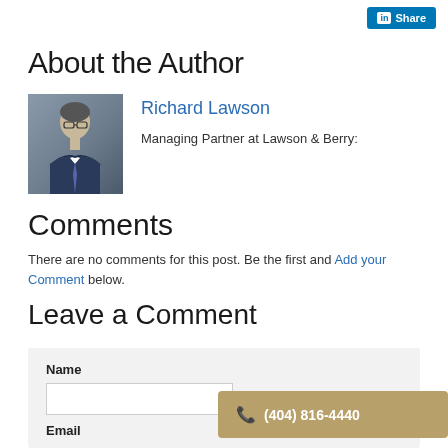[Figure (other): LinkedIn Share button in top right corner]
About the Author
[Figure (photo): Professional headshot photo of Richard Lawson, a man in a suit with glasses]
Richard Lawson
Managing Partner at Lawson & Berry:
Comments
There are no comments for this post. Be the first and Add your Comment below.
Leave a Comment
Name
Email
(404) 816-4440